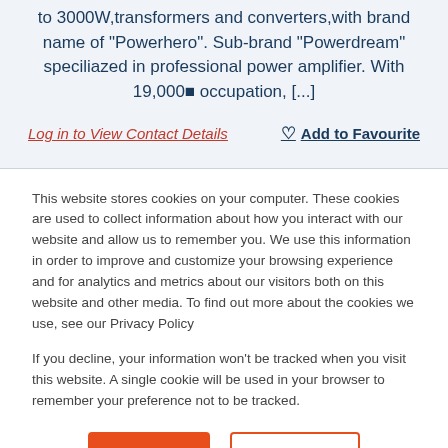to 3000W,transformers and converters,with brand name of "Powerhero". Sub-brand “Powerdream” speciliazed in professional power amplifier. With 19,000■ occupation, [...]
Log in to View Contact Details
Add to Favourite
This website stores cookies on your computer. These cookies are used to collect information about how you interact with our website and allow us to remember you. We use this information in order to improve and customize your browsing experience and for analytics and metrics about our visitors both on this website and other media. To find out more about the cookies we use, see our Privacy Policy
If you decline, your information won’t be tracked when you visit this website. A single cookie will be used in your browser to remember your preference not to be tracked.